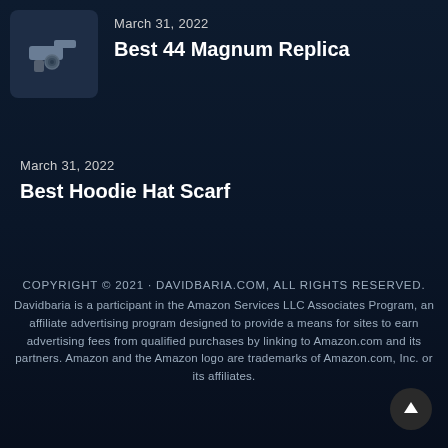[Figure (illustration): Thumbnail image of a revolver/gun icon on dark blue background]
March 31, 2022
Best 44 Magnum Replica
March 31, 2022
Best Hoodie Hat Scarf
COPYRIGHT © 2021 · DAVIDBARIA.COM, ALL RIGHTS RESERVED. Davidbaria is a participant in the Amazon Services LLC Associates Program, an affiliate advertising program designed to provide a means for sites to earn advertising fees from qualified purchases by linking to Amazon.com and its partners. Amazon and the Amazon logo are trademarks of Amazon.com, Inc. or its affiliates.